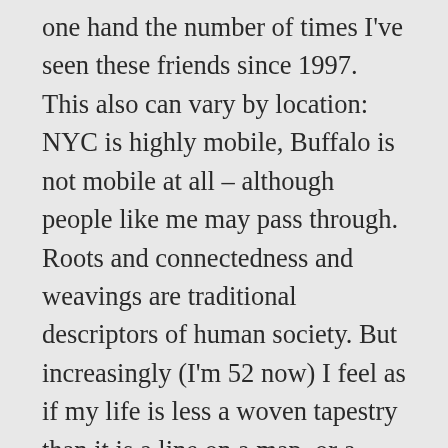one hand the number of times I've seen these friends since 1997. This also can vary by location: NYC is highly mobile, Buffalo is not mobile at all – although people like me may pass through. Roots and connectedness and weavings are traditional descriptors of human society. But increasingly (I'm 52 now) I feel as if my life is less a woven tapestry than it is a line on a map, or a journey in process: a through-hike on a very long trail. Dare I say, life can be like a labyrinth. I have few folks, beyond